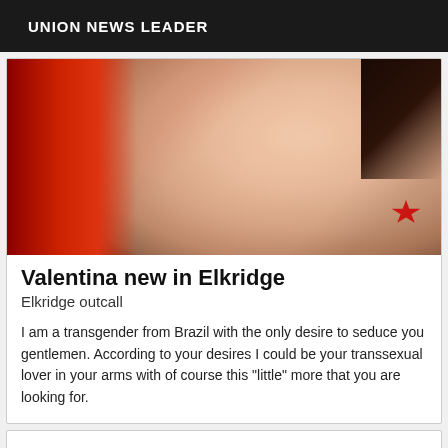UNION NEWS LEADER
[Figure (photo): Close-up photo of a person wearing red clothing, showing neck and décolletage area with dark hair visible, red butterfly tattoo on lower right]
Valentina new in Elkridge
Elkridge outcall
I am a transgender from Brazil with the only desire to seduce you gentlemen. According to your desires I could be your transsexual lover in your arms with of course this "little" more that you are looking for.